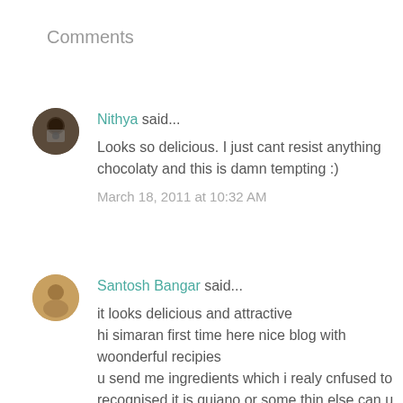Comments
Nithya said...

Looks so delicious. I just cant resist anything chocolaty and this is damn tempting :)

March 18, 2011 at 10:32 AM
Santosh Bangar said...

it looks delicious and attractive
hi simaran first time here nice blog with woonderful recipies
u send me ingredients which i realy cnfused to recognised it is quiano or some thin else can u give me some clue so that i use it and post my recipe